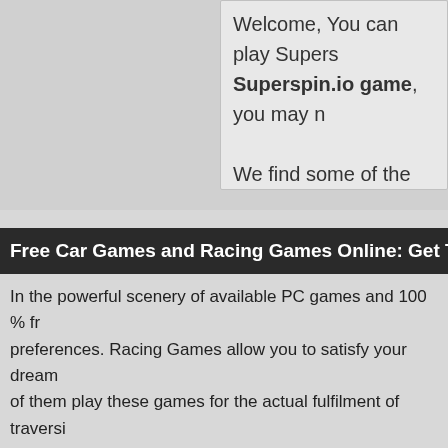Welcome, You can play Supers... Superspin.io game, you may n...
We find some of the game: Sh... html5 games or page.
Free Car Games and Racing Games Online: Get Thrill a...
In the powerful scenery of available PC games and 100 % fr... preferences. Racing Games allow you to satisfy your dream... of them play these games for the actual fulfilment of traversi... time.
Most individuals of older age enjoy playing cacing games on... kinds of individuals are not particular about the gaming level... For the younger people, Racing Games takes on a different... schedules gets together to play these games by developing...